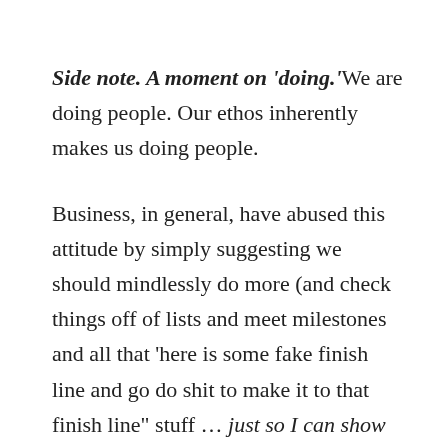Side note. A moment on 'doing.' We are doing people. Our ethos inherently makes us doing people.
Business, in general, have abused this attitude by simply suggesting we should mindlessly do more (and check things off of lists and meet milestones and all that 'here is some fake finish line and go do shit to make it to that finish line" stuff … just so I can show you a new finish line). This bad business attitude ignores we